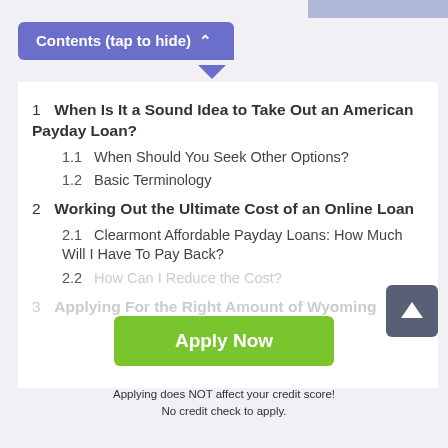Contents (tap to hide) ^
1  When Is It a Sound Idea to Take Out an American Payday Loan?
1.1  When Should You Seek Other Options?
1.2  Basic Terminology
2  Working Out the Ultimate Cost of an Online Loan
2.1  Clearmont Affordable Payday Loans: How Much Will I Have To Pay Back?
2.2  How Can I Reduce the Cost?
3  Applying For the Right Amount of Wyoming
Apply Now
Applying does NOT affect your credit score!
No credit check to apply.